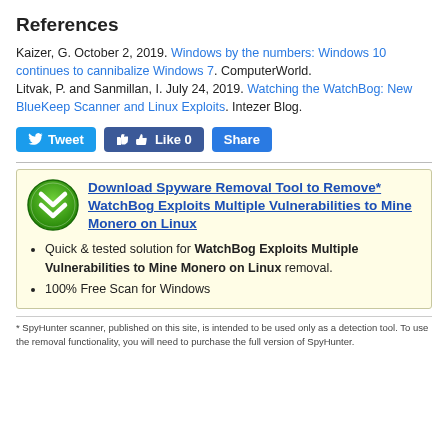References
Kaizer, G. October 2, 2019. Windows by the numbers: Windows 10 continues to cannibalize Windows 7. ComputerWorld.
Litvak, P. and Sanmillan, I. July 24, 2019. Watching the WatchBog: New BlueKeep Scanner and Linux Exploits. Intezer Blog.
[Figure (other): Social sharing buttons: Tweet, Like 0, Share]
[Figure (infographic): Advertisement box with green SpyHunter logo. Title link: Download Spyware Removal Tool to Remove* WatchBog Exploits Multiple Vulnerabilities to Mine Monero on Linux. Bullet points: Quick & tested solution for WatchBog Exploits Multiple Vulnerabilities to Mine Monero on Linux removal. 100% Free Scan for Windows.]
* SpyHunter scanner, published on this site, is intended to be used only as a detection tool. To use the removal functionality, you will need to purchase the full version of SpyHunter.